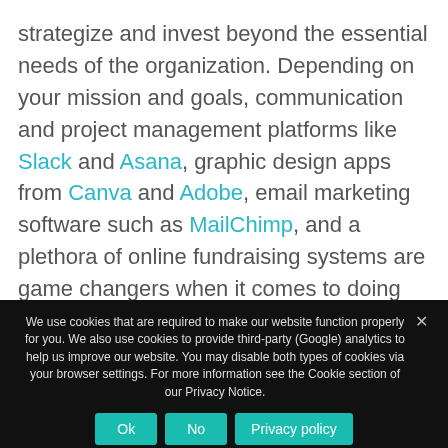strategize and invest beyond the essential needs of the organization. Depending on your mission and goals, communication and project management platforms like Slack and Asana, graphic design apps from Canva and Adobe, email marketing software such as MailChimp, and a plethora of online fundraising systems are game changers when it comes to doing more with less. Many of these tools, including
We use cookies that are required to make our website function properly for you. We also use cookies to provide third-party (Google) analytics to help us improve our website. You may disable both types of cookies via your browser settings. For more information see the Cookie section of our Privacy Notice.